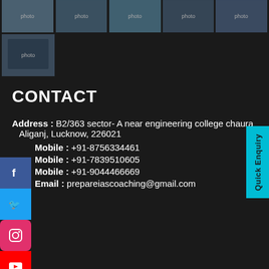[Figure (photo): Row of 5 thumbnail photos showing people at events]
[Figure (photo): Single thumbnail photo showing a person with a poster/sign]
CONTACT
Address : B2/363 sector- A near engineering college chauraha, Aliganj, Lucknow, 226021
Mobile : +91-8756334461
Mobile : +91-7839510605
Mobile : +91-9044466669
Email : prepareiascoaching@gmail.com